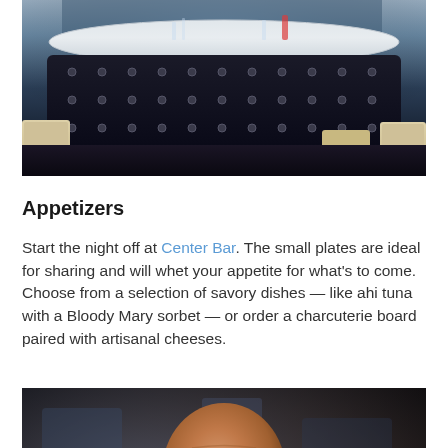[Figure (photo): Interior photo of a restaurant bar with a curved marble countertop, dark padded front with metal studs, and cream/white bar stools arranged around it. Glasses and bottles visible on the bar.]
Appetizers
Start the night off at Center Bar. The small plates are ideal for sharing and will whet your appetite for what's to come. Choose from a selection of savory dishes — like ahi tuna with a Bloody Mary sorbet — or order a charcuterie board paired with artisanal cheeses.
[Figure (photo): Close-up photo of a bald chef in a dark apron looking down, working in a kitchen environment with blurred background.]